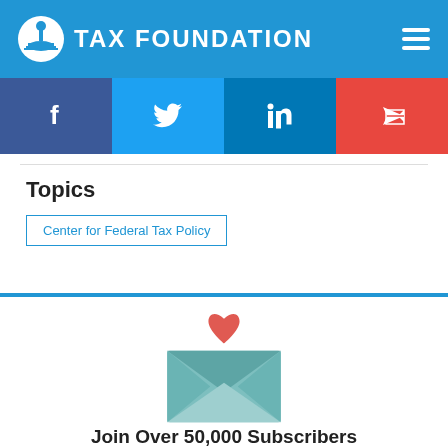TAX FOUNDATION
[Figure (infographic): Social sharing buttons: Facebook, Twitter, LinkedIn, Email]
Topics
Center for Federal Tax Policy
[Figure (illustration): Envelope with heart icon above it, newsletter signup graphic]
Join Over 50,000 Subscribers